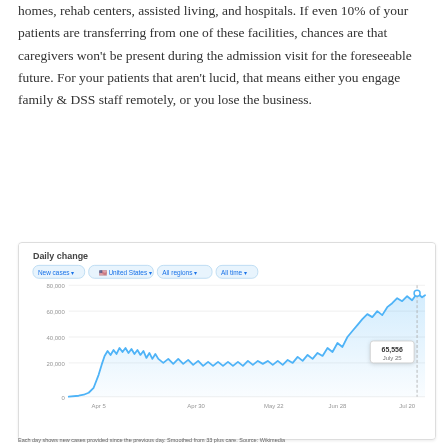homes, rehab centers, assisted living, and hospitals. If even 10% of your patients are transferring from one of these facilities, chances are that caregivers won't be present during the admission visit for the foreseeable future. For your patients that aren't lucid, that means either you engage family & DSS staff remotely, or you lose the business.
[Figure (continuous-plot): Line chart showing daily new COVID-19 cases in the United States over time (All time). Filters shown: New cases, United States, All regions, All time. X-axis shows dates from approximately Apr 5 to Jul 20. Y-axis shows values from 0 to 80,000. The line rises sharply from near 0 in early April, peaks around 30,000-35,000 in mid-April, plateaus and fluctuates between 20,000-35,000 through May and June, then rises sharply again to around 65,000-70,000 in mid-to-late July. A tooltip shows 65,556 on July 25.]
Each day shows new cases provided since the previous day. Smoothed from 33 plus care. Source: Wikimedia